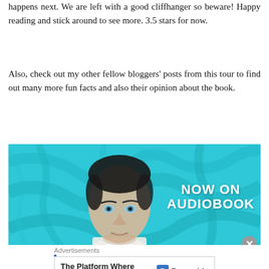happens next. We are left with a good cliffhanger so beware! Happy reading and stick around to see more. 3.5 stars for now.
Also, check out my other fellow bloggers’ posts from this tour to find out many more fun facts and also their opinion about the book.
[Figure (photo): Book promotional banner with a young man with blue eyes against a cyan/teal abstract background. Text reads NOW ON AUDIOBOOK with SERIES text at bottom.]
Advertisements
The Platform Where WordPress Works Best | Pressable